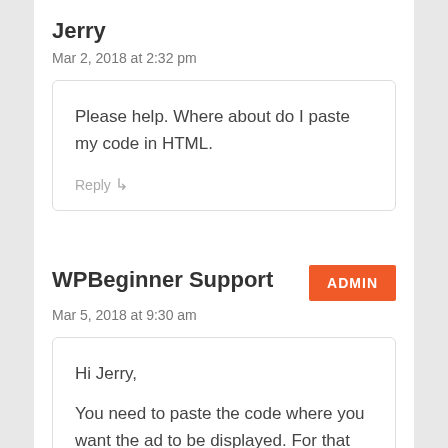Jerry
Mar 2, 2018 at 2:32 pm
Please help. Where about do I paste my code in HTML.
Reply ↳
WPBeginner Support
ADMIN
Mar 5, 2018 at 9:30 am
Hi Jerry,

You need to paste the code where you want the ad to be displayed. For that you